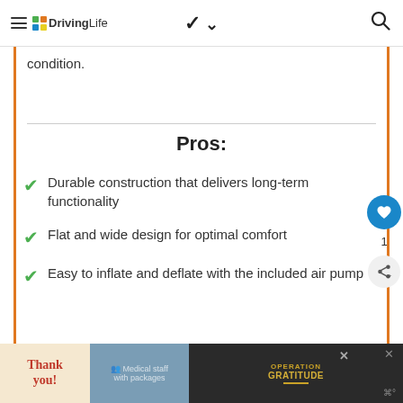DrivingLife (navigation header with hamburger menu, chevron, and search icon)
condition.
Pros:
Durable construction that delivers long-term functionality
Flat and wide design for optimal comfort
Easy to inflate and deflate with the included air pump
[Figure (screenshot): Bottom advertisement bar showing 'Thank you' Operation Gratitude ad with people holding packages, dark background]
[Figure (infographic): Social sidebar with blue heart/like button showing count of 1, and share button]